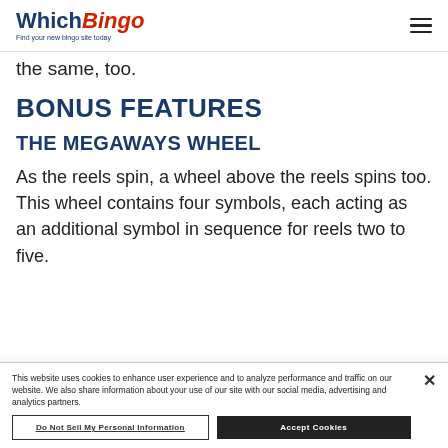WhichBingo — Find your new bingo site today
the same, too.
BONUS FEATURES
THE MEGAWAYS WHEEL
As the reels spin, a wheel above the reels spins too. This wheel contains four symbols, each acting as an additional symbol in sequence for reels two to five.
This website uses cookies to enhance user experience and to analyze performance and traffic on our website. We also share information about your use of our site with our social media, advertising and analytics partners.
Do Not Sell My Personal Information
Accept Cookies